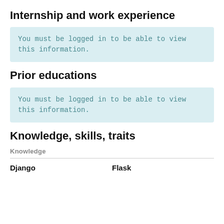Internship and work experience
You must be logged in to be able to view this information.
Prior educations
You must be logged in to be able to view this information.
Knowledge, skills, traits
Knowledge
Django	Flask